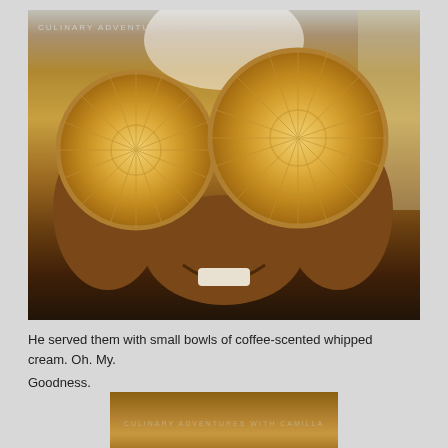[Figure (photo): Person holding two large round patterned waffle cookies over their eyes like goggles, smiling widely. The waffles are golden-brown with intricate circular embossed patterns. The image has a 'Culinary Adventures with Camilla' watermark in the top left corner.]
He served them with small bowls of coffee-scented whipped cream. Oh. My. Goodness.
[Figure (photo): Partial photo showing a close-up of a textured food item (likely a waffle cookie) with a 'Culinary Adventures with Camilla' watermark overlaid.]